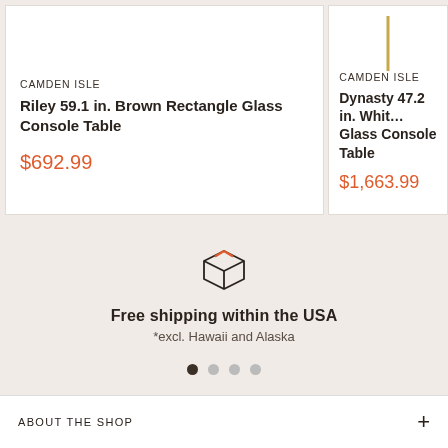CAMDEN ISLE
Riley 59.1 in. Brown Rectangle Glass Console Table
$692.99
CAMDEN ISLE
Dynasty 47.2 in. White Glass Console Table
$1,663.99
[Figure (illustration): Box/package icon representing shipping]
Free shipping within the USA
*excl. Hawaii and Alaska
ABOUT THE SHOP